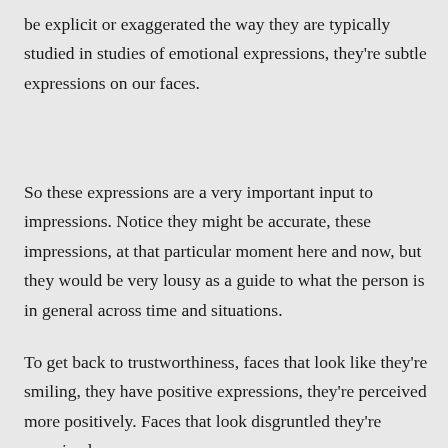be explicit or exaggerated the way they are typically studied in studies of emotional expressions, they're subtle expressions on our faces.
So these expressions are a very important input to impressions. Notice they might be accurate, these impressions, at that particular moment here and now, but they would be very lousy as a guide to what the person is in general across time and situations.
To get back to trustworthiness, faces that look like they're smiling, they have positive expressions, they're perceived more positively. Faces that look disgruntled they're perceived